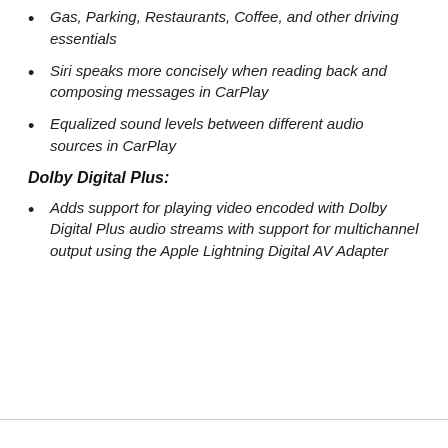Gas, Parking, Restaurants, Coffee, and other driving essentials
Siri speaks more concisely when reading back and composing messages in CarPlay
Equalized sound levels between different audio sources in CarPlay
Dolby Digital Plus:
Adds support for playing video encoded with Dolby Digital Plus audio streams with support for multichannel output using the Apple Lightning Digital AV Adapter